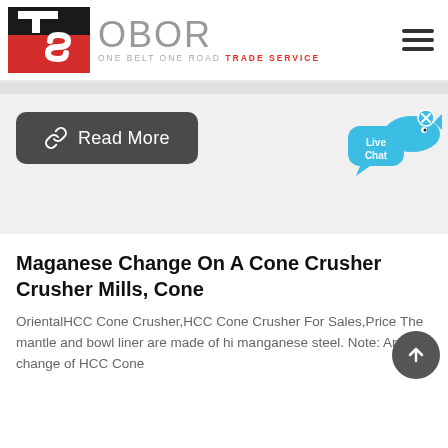[Figure (logo): OBOR Trade Service logo with red/black TS icon and gray OBOR text with tagline ONE BELT ONE ROAD TRADE SERVICE]
[Figure (infographic): Read More button with chain link icon on dark gray rounded rectangle background]
[Figure (infographic): Live Chat bubble widget in blue with fish icon and x close button]
Maganese Change On A Cone Crusher Crusher Mills, Cone
OrientalHCC Cone Crusher,HCC Cone Crusher For Sales,Price The mantle and bowl liner are made of hi manganese steel. Note: Any change of HCC Cone